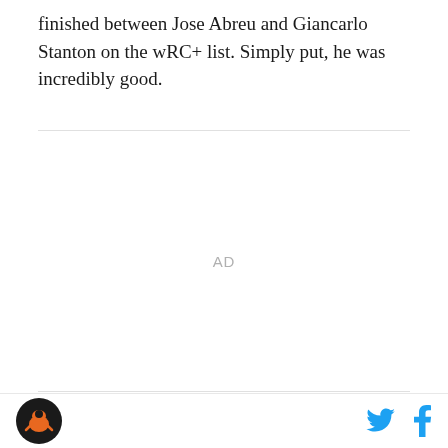finished between Jose Abreu and Giancarlo Stanton on the wRC+ list. Simply put, he was incredibly good.
[Figure (other): Advertisement placeholder area with 'AD' label and horizontal rules above and below]
This year has been a different story. Although no one expected Pearce to repeat his numbers from last year,
Logo icon | Twitter icon | Facebook icon